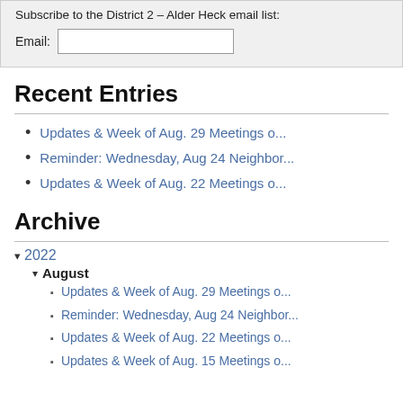Subscribe to the District 2 – Alder Heck email list:
Email: [input field]
Recent Entries
Updates & Week of Aug. 29 Meetings o...
Reminder: Wednesday, Aug 24 Neighbor...
Updates & Week of Aug. 22 Meetings o...
Archive
▾ 2022
▾ August
Updates & Week of Aug. 29 Meetings o...
Reminder: Wednesday, Aug 24 Neighbor...
Updates & Week of Aug. 22 Meetings o...
Updates & Week of Aug. 15 Meetings o...